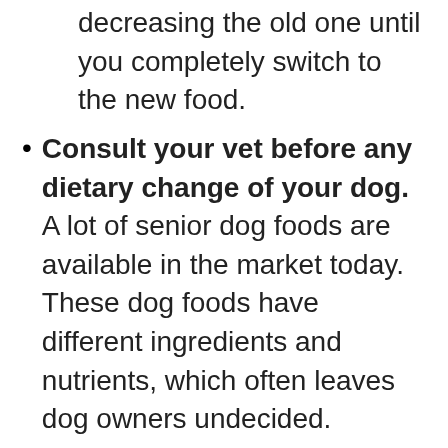decreasing the old one until you completely switch to the new food.
Consult your vet before any dietary change of your dog. A lot of senior dog foods are available in the market today. These dog foods have different ingredients and nutrients, which often leaves dog owners undecided.
In cases like this, always talk to your vet. Your vet decides best what is good for your